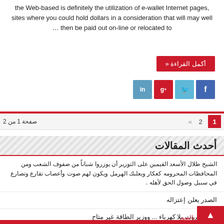the Web-based is definitely the utilization of e-wallet Internet pages, sites where you could hold dollars in a consideration that will may well … then be paid out on-line or relocated to
أكمل القراءة »
[Figure (infographic): Social share buttons: LinkedIn (in), Google+ (g+), Twitter (bird), Facebook (f)]
صفحة 1 من 2   «  2  1
أحدث المقالات
الشيخ طلال الأسعد القيمين على التوزير أن يوزروا شباناً من صفوف الشعب ومن المحافظات المحرومه كعكار وبعلبك الهرمل ويكون لهم صوت وأعصاب تقارع وتصارع في سبيل وصول الحق لأهله .
الصدر يعلن إعتزاله
مطار بيروت بلا كهرباء ... ووزير الطاقة غير متاح
انسحاب شركة روسية يسهل استئناف التنقيب عن النفط في مياه لبنان
مقتل الفنان جورج الرّاسي بحادث مروع!